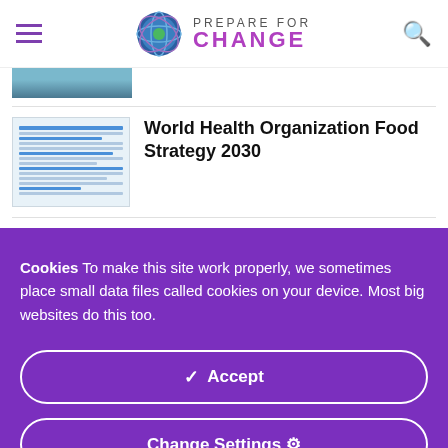PREPARE FOR CHANGE
[Figure (screenshot): Partial top thumbnail image, cropped]
[Figure (screenshot): Document screenshot thumbnail for WHO Food Strategy 2030 article]
World Health Organization Food Strategy 2030
[Figure (photo): Dark purple/red image thumbnail for Dark Moon reading article]
Dark Moon reading 27 Aug 22: A Great Challenge
Cookies To make this site work properly, we sometimes place small data files called cookies on your device. Most big websites do this too.
✓ Accept
Change Settings ⚙